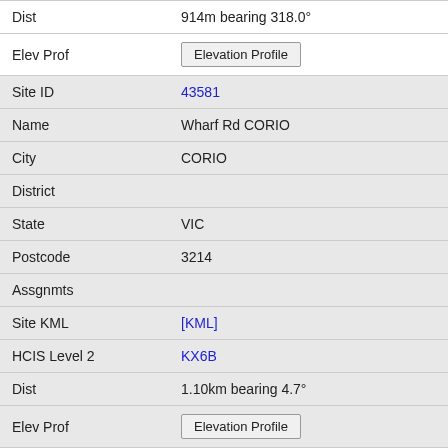| Dist | 914m bearing 318.0° |
| Elev Prof | [Elevation Profile button] |
| Site ID | 43581 |
| Name | Wharf Rd CORIO |
| City | CORIO |
| District |  |
| State | VIC |
| Postcode | 3214 |
| Assgnmts |  |
| Site KML | [KML] |
| HCIS Level 2 | KX6B |
| Dist | 1.10km bearing 4.7° |
| Elev Prof | [Elevation Profile button] |
| Site ID | 301313 |
| Name | Telstra/Hutchison Site 10 Station St NORLANE |
| City | NORLANE |